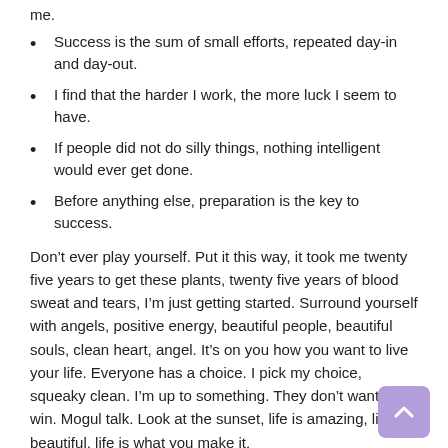me.
Success is the sum of small efforts, repeated day-in and day-out.
I find that the harder I work, the more luck I seem to have.
If people did not do silly things, nothing intelligent would ever get done.
Before anything else, preparation is the key to success.
Don’t ever play yourself. Put it this way, it took me twenty five years to get these plants, twenty five years of blood sweat and tears, I’m just getting started. Surround yourself with angels, positive energy, beautiful people, beautiful souls, clean heart, angel. It’s on you how you want to live your life. Everyone has a choice. I pick my choice, squeaky clean. I’m up to something. They don’t want us to win. Mogul talk. Look at the sunset, life is amazing, life is beautiful, life is what you make it.
Action is